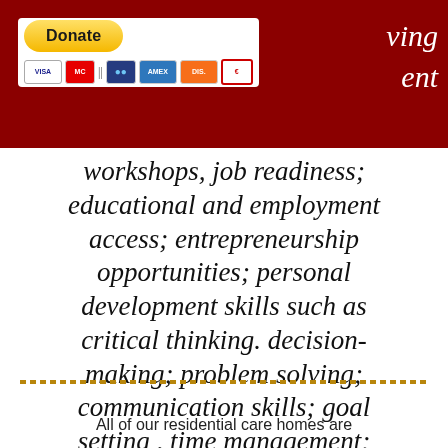[Figure (screenshot): Dark red header bar with PayPal Donate button and credit card icons on the left, and partial italic text '...ving ...ent' visible on the right in white italic font.]
workshops, job readiness; educational and employment access; entrepreneurship opportunities; personal development skills such as critical thinking. decision-making; problem solving; communication skills; goal setting , time management; resource management and social skills.
[Figure (other): Horizontal dotted/dashed golden-brown decorative divider line.]
All of our residential care homes are